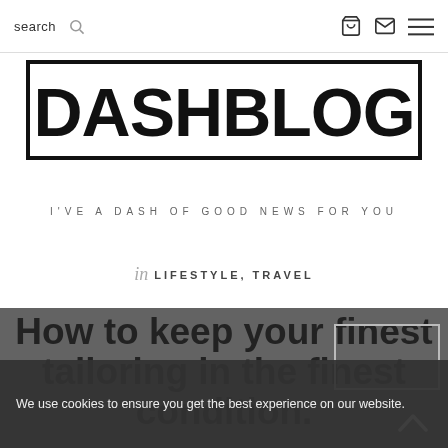search
[Figure (logo): DASHBLOG logo in large bold black text inside a thick black border rectangle]
I'VE A DASH OF GOOD NEWS FOR YOU
in LIFESTYLE, TRAVEL
How to keep your finest tailoring in the finest condition.
We use cookies to ensure you get the best experience on our website.